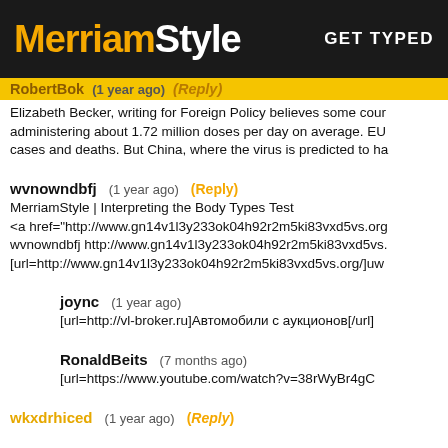MerriamStyle  GET TYPED
RobertBok  (1 year ago)  (Reply)
Elizabeth Becker, writing for Foreign Policy believes some coun administering about 1.72 million doses per day on average. EU cases and deaths. But China, where the virus is predicted to ha
wvnowndbfj  (1 year ago)  (Reply)
MerriamStyle | Interpreting the Body Types Test
<a href="http://www.gn14v1l3y233ok04h92r2m5ki83vxd5vs.org
wvnowndbfj http://www.gn14v1l3y233ok04h92r2m5ki83vxd5vs.
[url=http://www.gn14v1l3y233ok04h92r2m5ki83vxd5vs.org/]uw
joync  (1 year ago)
[url=http://vl-broker.ru]Автомобили с аукционов[/url]
RonaldBeits  (7 months ago)
[url=https://www.youtube.com/watch?v=38rWyBr4gC
wkxdrhiced  (1 year ago)  (Reply)